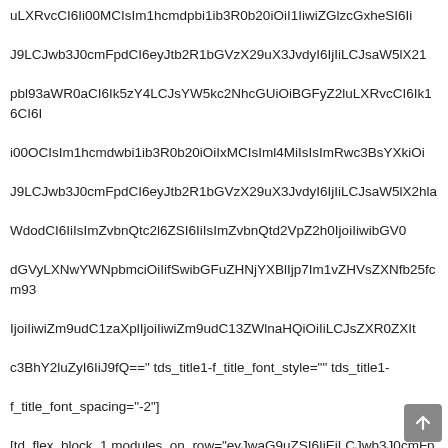uLXRvcCI6Ii00MCIsIm1hcmdpbi1ib3R0b20iOiI1IiwiZGlzcGxheSI6Ii J9LCJwb3J0cmFpdCI6eyJtb2R1bGVzX29uX3JvdyI6IjIiLCJsaW5lX21 pbl93aWR0aCI6Ik5zY4LCJsYW5kc2NhcGUiOiBGFyZ2luLXRvcCI6Ik16CI6I i00OCIsIm1hcmdwbi1ib3R0b20iOiIxMCIsIml4MiIsIsImRwc3BsYXkiOi J9LCJwb3J0cmFpdCI6eyJtb2R1bGVzX29uX3JvdyI6IjIiLCJsaW5lX2hla WdodCI6IiIsImZvbnQtc2l6ZSI6IiIsImZvbnQtd2VpZ2h0IjoiIiwibGV0 dGVyLXNwYWNpbmciOiIifSwibGFuZHNjYXBlIjp7Im1vZHVsZXNfb25fcm93 IjoiIiwiZm9udC1zaXplIjoiIiwiZm9udC13ZWlnaHQiOiIiLCJsZXR0ZXIt c3BhY2luZyI6IiJ9fQ==" tds_title1-f_title_font_style="" tds_title1-f_title_font_spacing="-2"]
[td_flex_block_1 modules_on_row="eyJwaG9uZSI6IjEiLCJwb3J0cmFpdCI6IjIiLCJsYW5kc2NhcGUiOiIzIn0=" limit="3" modules_category="" show_btn="eyJwaG9uZSI6Im5vbmUiLCJhbGwiOiJub25lIiwiYWxsIjoiZGlzcGxheSI6Im5vbmUifQ==" show_excerpt="eyJwaG9uZSI6Im5vbmUiLCJhbGwiOiJub25lIiwiYWxsIjoiZGlzcGxheSI6Im5vbmUiLCJwb3J0cmFpdCI6Im5vbmUiLCJsYW5kc2NhcGUiOiJub25lIn0==" ajax_pagination="" td_ajax_preloading="preload" sort="" category_id="" f_title_font_size="eyJhbGwiOiIwMCIsInBob25lIjoiMzAiLCJsb2dpbiI6IjAiLCJwb3J0cmFpdCI6IjI4IiwiZGlzcGxheSI6IiIsImZvbnRJbG9naW5Mzgif Q==" f_title_font_line_height="eyJwb3J0cmFpdCI6IjEuMiIsImFsbCI6IjEuMiJ9" show_cat="none" meta_info_border_style="" meta_padding="eyJhbGwiOiIzMHB4MCAxMHB4MjBweCIsInBob25lIjoiMTVweCAwIGpvaU1UVweCAwIDAgMTVweCIsImxhbmRzY2FwZSI6IjI1cHggMCAxMHB4MjBweCIsImlqbGxhbmRzY2FwZSI6ImlqbGxhbmRzY2FwZSI6ImlqbCIsImxhbmRzYXBlIjoiMTVweCIsImxhbmRzQ2F3IDAifQ==" modules_divider="" image_size="td_1068x0" meta_info_align=""